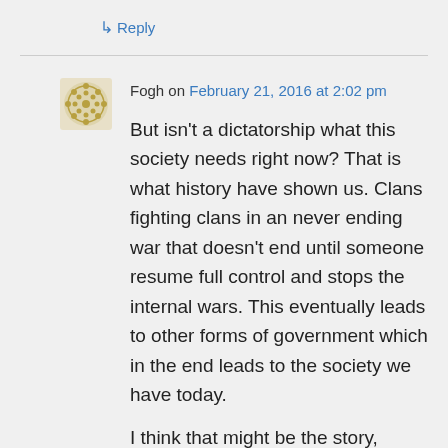↳ Reply
Fogh on February 21, 2016 at 2:02 pm
But isn't a dictatorship what this society needs right now? That is what history have shown us. Clans fighting clans in an never ending war that doesn't end until someone resume full control and stops the internal wars. This eventually leads to other forms of government which in the end leads to the society we have today.
I think that might be the story, Jason